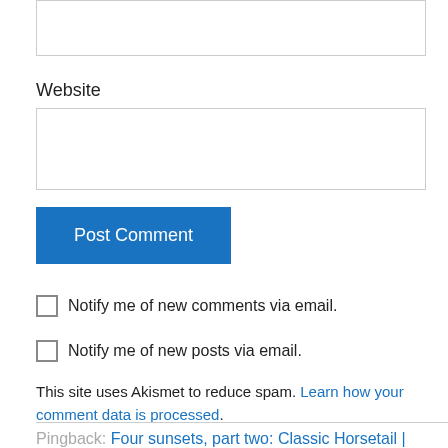[Figure (screenshot): Empty input text box at top of page]
Website
[Figure (screenshot): Empty Website input text box]
Post Comment
Notify me of new comments via email.
Notify me of new posts via email.
This site uses Akismet to reduce spam. Learn how your comment data is processed.
Pingback: Four sunsets, part two: Classic Horsetail | Eloquent Nature — OpenHat...